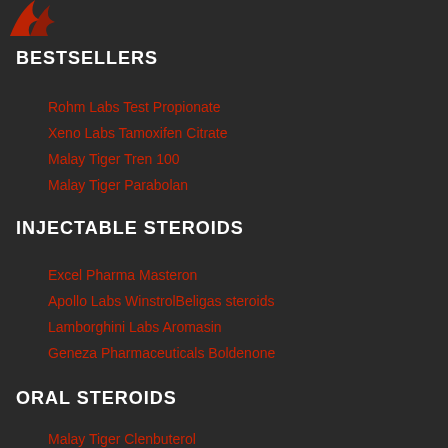[Figure (logo): Red logo partially visible at top left]
BESTSELLERS
Rohm Labs Test Propionate
Xeno Labs Tamoxifen Citrate
Malay Tiger Tren 100
Malay Tiger Parabolan
INJECTABLE STEROIDS
Excel Pharma Masteron
Apollo Labs WinstrolBeligas steroids
Lamborghini Labs Aromasin
Geneza Pharmaceuticals Boldenone
ORAL STEROIDS
Malay Tiger Clenbuterol